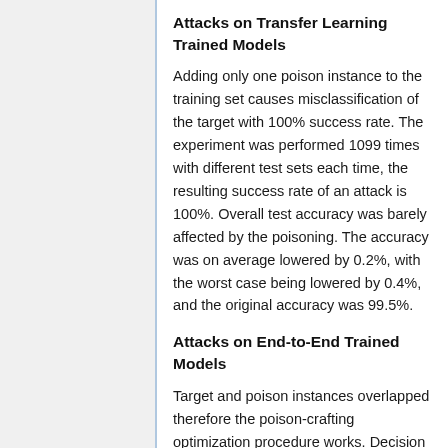Attacks on Transfer Learning Trained Models
Adding only one poison instance to the training set causes misclassification of the target with 100% success rate. The experiment was performed 1099 times with different test sets each time, the resulting success rate of an attack is 100%. Overall test accuracy was barely affected by the poisoning. The accuracy was on average lowered by 0.2%, with the worst case being lowered by 0.4%, and the original accuracy was 99.5%.
Attacks on End-to-End Trained Models
Target and poison instances overlapped therefore the poison-crafting optimization procedure works. Decision bound remains the same after retraining on the